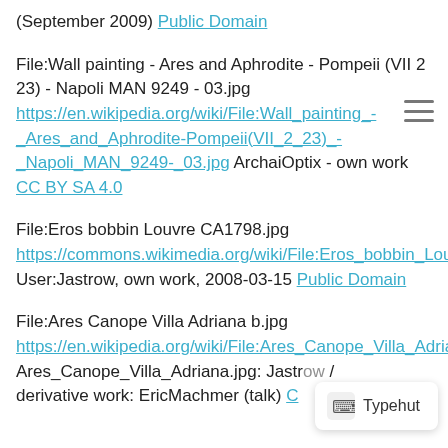(September 2009) Public Domain
File:Wall painting - Ares and Aphrodite - Pompeii (VII 2 23) - Napoli MAN 9249 - 03.jpg https://en.wikipedia.org/wiki/File:Wall_painting_-_Ares_and_Aphrodite-Pompeii(VII_2_23)_-_Napoli_MAN_9249-_03.jpg ArchaiOptix - own work CC BY SA 4.0
File:Eros bobbin Louvre CA1798.jpg https://commons.wikimedia.org/wiki/File:Eros_bobbin_Louvre_CA1798.jpg User:Jastrow, own work, 2008-03-15 Public Domain
File:Ares Canope Villa Adriana b.jpg https://en.wikipedia.org/wiki/File:Ares_Canope_Villa_Adriana_b.jpg Ares_Canope_Villa_Adriana.jpg: Jastrow / derivative work: EricMachmer (talk) C... 3.0